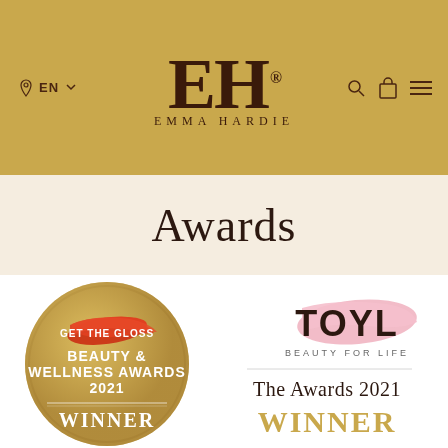EN  EH EMMA HARDIE
Awards
[Figure (logo): Get The Gloss Beauty & Wellness Awards 2021 Winner gold circular badge with red brush stroke]
[Figure (logo): TOYL Beauty For Life The Awards 2021 Winner logo with pink brush stroke]